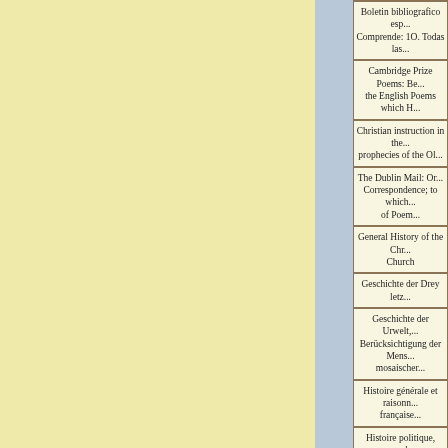| Boletin bibliografico esp... Comprende: 1O. Todas las... |
| Cambridge Prize Poems: Be... the English Poems which H... |
| Christian instruction in the... prophecies of the Ol... |
| The Dublin Mail: Or... Correspondence; to which... of Poem... |
| General History of the Chr... Church |
| Geschichte der Drey letz... |
| Geschichte der Urwelt,... Berücksichtigung der Mens... mosaischer... |
| Histoire générale et raisonn... française... |
| Histoire politique, moral... Beauvais... |
| Historia Ecclesiæ Christ... Salvatoris usque ad c... |
| History and Bibliograp... |